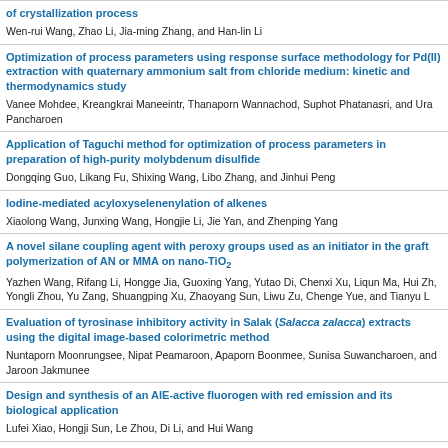of crystallization process
Wen-rui Wang, Zhao Li, Jia-ming Zhang, and Han-lin Li
Optimization of process parameters using response surface methodology for Pd(II) extraction with quaternary ammonium salt from chloride medium: kinetic and thermodynamics study
Vanee Mohdee, Kreangkrai Maneeintr, Thanaporn Wannachod, Suphot Phatanasri, and Ura Pancharoen
Application of Taguchi method for optimization of process parameters in preparation of high-purity molybdenum disulfide
Dongqing Guo, Likang Fu, Shixing Wang, Libo Zhang, and Jinhui Peng
Iodine-mediated acyloxyselenenylation of alkenes
Xiaolong Wang, Junxing Wang, Hongjie Li, Jie Yan, and Zhenping Yang
A novel silane coupling agent with peroxy groups used as an initiator in the graft polymerization of AN or MMA on nano-TiO2
Yazhen Wang, Rifang Li, Hongge Jia, Guoxing Yang, Yutao Di, Chenxi Xu, Liqun Ma, Hui Zh, Yongli Zhou, Yu Zang, Shuangping Xu, Zhaoyang Sun, Liwu Zu, Chenge Yue, and Tianyu L
Evaluation of tyrosinase inhibitory activity in Salak (Salacca zalacca) extracts using the digital image-based colorimetric method
Nuntaporn Moonrungsee, Nipat Peamaroon, Apaporn Boonmee, Sunisa Suwancharoen, and Jaroon Jakmunee
Design and synthesis of an AIE-active fluorogen with red emission and its biological application
Lufei Xiao, Hongji Sun, Le Zhou, Di Li, and Hui Wang
Optimized design of novel Pt decorated 3D BiOBr flower-microsphere synthesis for highly efficient photocatalytic properties
Zhen Zhang, Yunfang Wang, Xiaochao Zhang, Changming Zhang, Yawen Wang, Hui Zhang, Caimei Fan